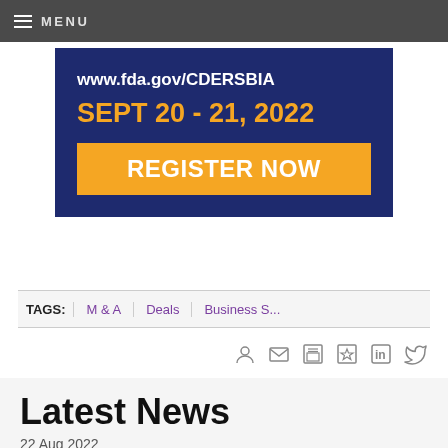MENU
[Figure (infographic): FDA CDER Small Business and Industry Assistance (SBIA) banner. Text: www.fda.gov/CDERSBIA, SEPT 20 - 21, 2022, REGISTER NOW. Dark navy background with orange accent text and orange button.]
TAGS: M & A | Deals | Business S...
Latest News
22 Aug 2022